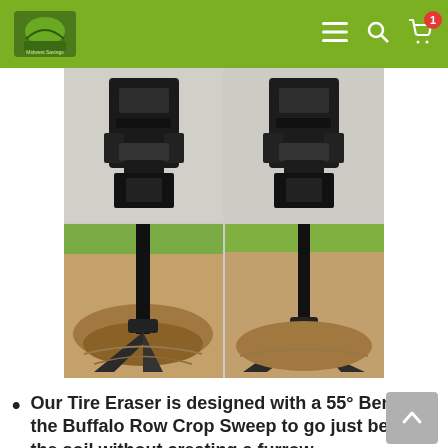Midwest Savings — navigation bar with logo, menu, search, and cart icons
[Figure (photo): Four-panel product photo grid showing Tire Eraser tool: top row shows close-up of black metal bracket/mounting hardware from two angles; bottom row shows the full tool inserted in soil from two angles, with a V-shaped sweep at the bottom.]
Our Tire Eraser is designed with a 55° Bend on the Buffalo Row Crop Sweep to go just below the soil without creating a furrow.